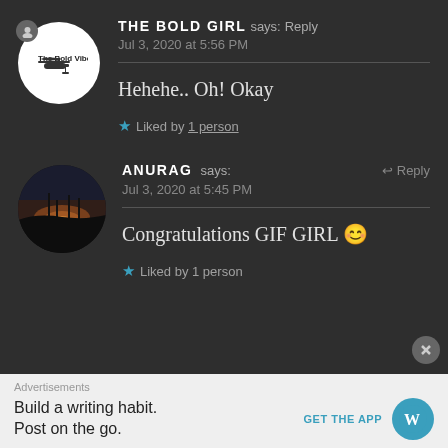THE BOLD GIRL says: Reply
Jul 3, 2020 at 5:56 PM
Hehehe.. Oh! Okay
★ Liked by 1 person
ANURAG says: ↩ Reply
Jul 3, 2020 at 5:45 PM
Congratulations GIF GIRL 😊
★ Liked by 1 person
Advertisements
Build a writing habit.
Post on the go.
GET THE APP